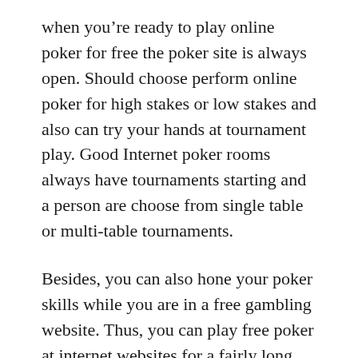when you're ready to play online poker for free the poker site is always open. Should choose perform online poker for high stakes or low stakes and also can try your hands at tournament play. Good Internet poker rooms always have tournaments starting and a person are choose from single table or multi-table tournaments.
Besides, you can also hone your poker skills while you are in a free gambling website. Thus, you can play free poker at internet websites for a fairly long time, good enough to turn into a proficient player. Now, once that is done you may possibly Upoker singapore start playing at any pay sites and earn the jackpots. In fact, you never know within a few hours of game you can even turn to the millionaire. There have been instances when players rapidly when compared with few rounds in the have won jackpots of million hard cash.